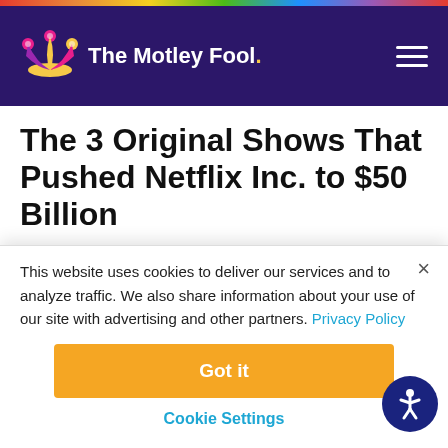The Motley Fool
The 3 Original Shows That Pushed Netflix Inc. to $50 Billion
By Demitri Kalogeropoulos - Jul 20, 2015 at 7:00PM
This website uses cookies to deliver our services and to analyze traffic. We also share information about your use of our site with advertising and other partners. Privacy Policy
Got it
Cookie Settings